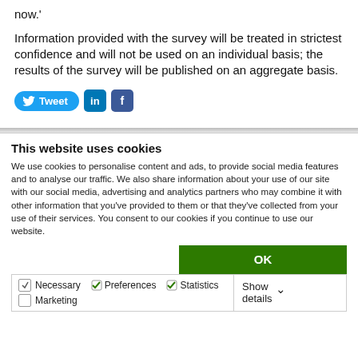now.'
Information provided with the survey will be treated in strictest confidence and will not be used on an individual basis; the results of the survey will be published on an aggregate basis.
[Figure (other): Social sharing buttons: Tweet (Twitter), LinkedIn, Facebook]
This website uses cookies
We use cookies to personalise content and ads, to provide social media features and to analyse our traffic. We also share information about your use of our site with our social media, advertising and analytics partners who may combine it with other information that you've provided to them or that they've collected from your use of their services. You consent to our cookies if you continue to use our website.
OK
|  | Show details |
| --- | --- |
| ✓ Necessary  ✓ Preferences  ✓ Statistics | Show details ∨ |
| ☐ Marketing |  |